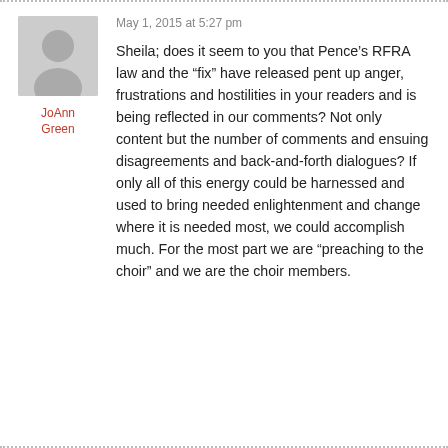JoAnn Green
May 1, 2015 at 5:27 pm
Sheila; does it seem to you that Pence’s RFRA law and the “fix” have released pent up anger, frustrations and hostilities in your readers and is being reflected in our comments? Not only content but the number of comments and ensuing disagreements and back-and-forth dialogues? If only all of this energy could be harnessed and used to bring needed enlightenment and change where it is needed most, we could accomplish much. For the most part we are “preaching to the choir” and we are the choir members.